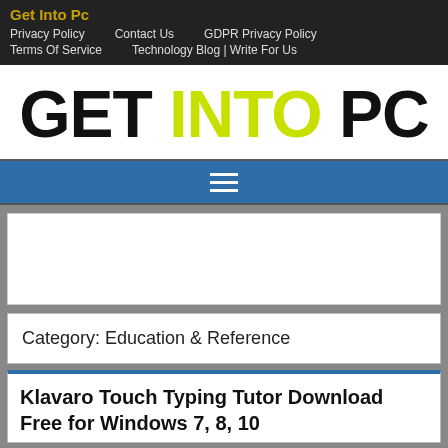Get Into Pc
Privacy Policy   Contact Us   GDPR Privacy Policy   Terms Of Service   Technology Blog | Write For Us
GET INTO PC
[Figure (other): Hamburger menu icon (three white horizontal lines on blue background)]
[Figure (other): Advertisement placeholder (white box with border)]
Category: Education & Reference
Klavaro Touch Typing Tutor Download Free for Windows 7, 8, 10